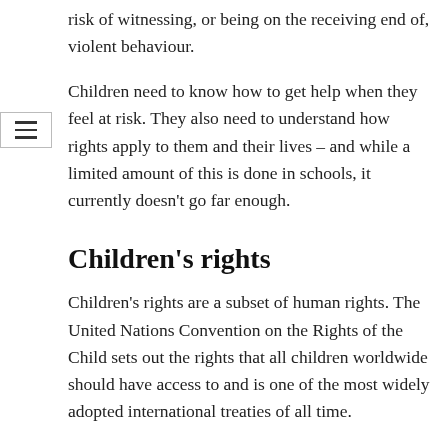risk of witnessing, or being on the receiving end of, violent behaviour.
Children need to know how to get help when they feel at risk. They also need to understand how rights apply to them and their lives – and while a limited amount of this is done in schools, it currently doesn't go far enough.
Children's rights
Children's rights are a subset of human rights. The United Nations Convention on the Rights of the Child sets out the rights that all children worldwide should have access to and is one of the most widely adopted international treaties of all time.
In England, specific teaching about human rights is included in Relationships Education for primary age